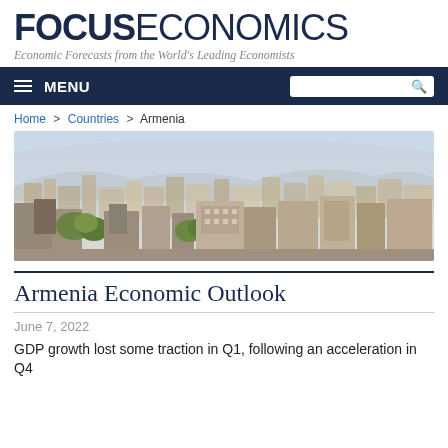FOCUSECONOMICS — Economic Forecasts from the World's Leading Economists
Home > Countries > Armenia
[Figure (photo): Aerial panoramic view of Yerevan, Armenia cityscape with buildings and mountains in the background]
Armenia Economic Outlook
June 7, 2022
GDP growth lost some traction in Q1, following an acceleration in Q4